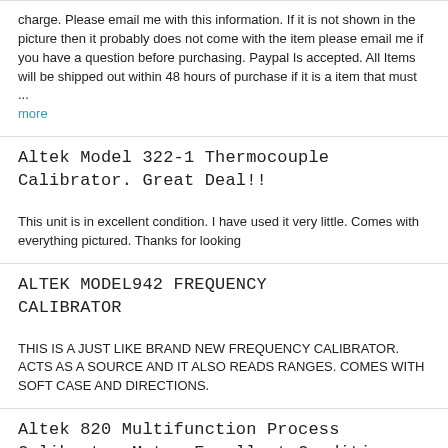charge. Please email me with this information. If it is not shown in the picture then it probably does not come with the item please email me if you have a question before purchasing. Paypal Is accepted. All Items will be shipped out within 48 hours of purchase if it is a item that must ... more
Altek Model 322-1 Thermocouple Calibrator. Great Deal!!
This unit is in excellent condition. I have used it very little. Comes with everything pictured. Thanks for looking
ALTEK MODEL942 FREQUENCY CALIBRATOR
THIS IS A JUST LIKE BRAND NEW FREQUENCY CALIBRATOR. ACTS AS A SOURCE AND IT ALSO READS RANGES. COMES WITH SOFT CASE AND DIRECTIONS.
Altek 820 Multifunction Process Calibrator Meter Excellent Condition Tech Chek
Pictures are of actual listing. Please contact me with any questions. This is a very lightly used calibrator that's in great shape. This calibrator is $2600 new from the factory. Here is your chance to get this great tool at a fraction of the cost. Has been tested and working as it should.